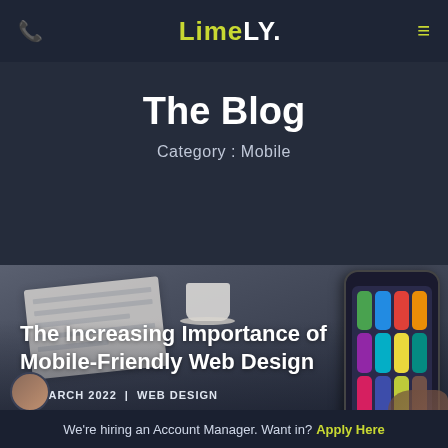LimeLY.
The Blog
Category : Mobile
[Figure (photo): Blog card image showing a desk with notebook, coffee cup, and a hand holding a smartphone with app icons visible on the screen.]
The Increasing Importance of Mobile-Friendly Web Design
25 MARCH 2022 | WEB DESIGN
We're hiring an Account Manager. Want in? Apply Here